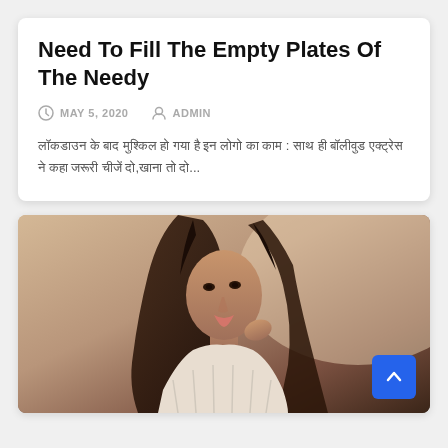Need To Fill The Empty Plates Of The Needy
MAY 5, 2020   ADMIN
लॉकडाउन के बाद मुश्किल हो गया है इन लोगो का काम : साथ ही बॉलीवुड एक्ट्रेस ने कहा जरूरी चीजें दो,खाना तो दो...
[Figure (photo): Portrait photo of a young woman with long dark wavy hair, wearing a cream knit sweater, looking upward slightly, against a light background.]